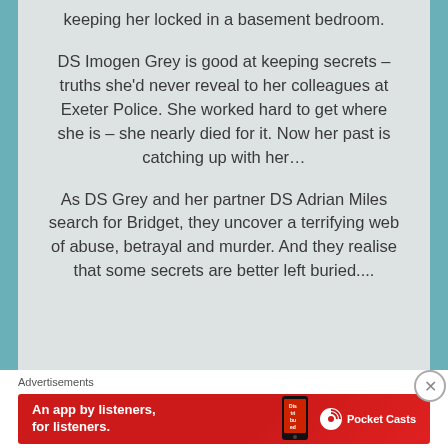keeping her locked in a basement bedroom.
DS Imogen Grey is good at keeping secrets – truths she'd never reveal to her colleagues at Exeter Police. She worked hard to get where she is – she nearly died for it. Now her past is catching up with her…
As DS Grey and her partner DS Adrian Miles search for Bridget, they uncover a terrifying web of abuse, betrayal and murder. And they realise that some secrets are better left buried....
Advertisements
[Figure (screenshot): Red Pocket Casts advertisement banner reading 'An app by listeners, for listeners.' with a phone image and Pocket Casts logo]